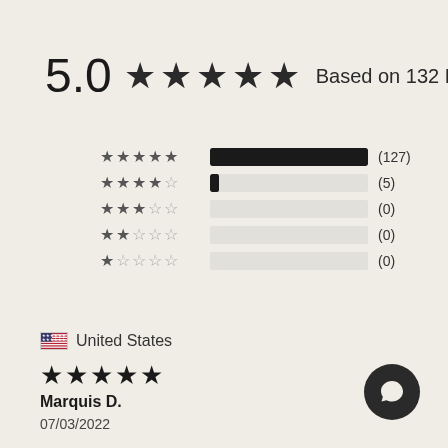5.0 ★★★★★ Based on 132 Reviews
[Figure (bar-chart): Rating distribution]
🇺🇸 United States
★★★★★
Marquis D.
07/03/2022